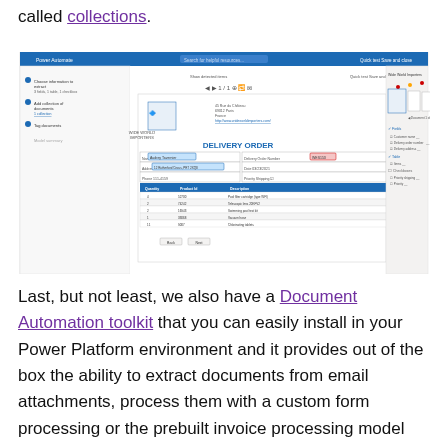called collections.
[Figure (screenshot): Screenshot of Power Automate Document Automation interface showing a delivery order document from Wide World Importers, with fields for customer name, address, phone, delivery order number, date, priority shipping, and a table of products (quantity, product id, description). The right panel shows form fields extracted: customer name, delivery order number, delivery address, date, items, priority shipping.]
Last, but not least, we also have a Document Automation toolkit that you can easily install in your Power Platform environment and it provides out of the box the ability to extract documents from email attachments, process them with a custom form processing or the prebuilt invoice processing model